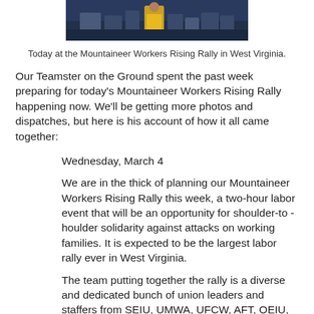[Figure (photo): Photo of people at the Mountaineer Workers Rising Rally in West Virginia, showing a crowd and a person in a yellow jacket.]
Today at the Mountaineer Workers Rising Rally in West Virginia.
Our Teamster on the Ground spent the past week preparing for today's Mountaineer Workers Rising Rally happening now. We'll be getting more photos and dispatches, but here is his account of how it all came together:
Wednesday, March 4
We are in the thick of planning our Mountaineer Workers Rising Rally this week, a two-hour labor event that will be an opportunity for shoulder-to -houlder solidarity against attacks on working families. It is expected to be the largest labor rally ever in West Virginia.
The team putting together the rally is a diverse and dedicated bunch of union leaders and staffers from SEIU, UMWA, UFCW, AFT, OEIU, Building Trades and, of course, the Teamsters